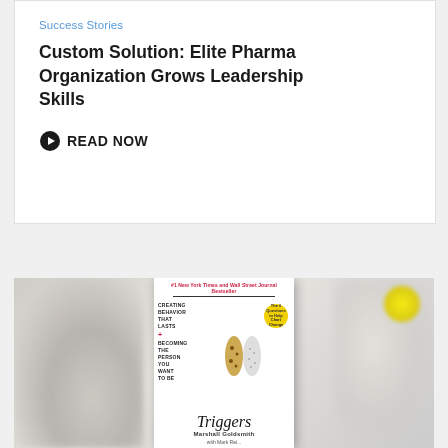Success Stories
Custom Solution: Elite Pharma Organization Grows Leadership Skills
READ NOW
[Figure (photo): Book cover of 'Triggers' by Marshall Goldsmith, shown against a blurred background with cat silhouettes. The book cover features leopard imagery and text 'Creating Behavior That Lasts - Becoming the Person You Want to Be'. Published as a #1 New York Times and Wall Street Journal Bestseller.]